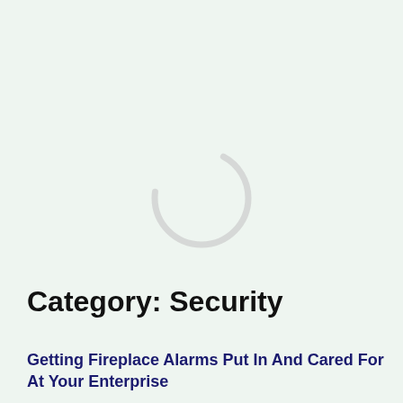[Figure (other): A loading spinner graphic — a partial circle arc in light gray/silver on a mint green background, indicating a loading state.]
Category: Security
Getting Fireplace Alarms Put In And Cared For At Your Enterprise